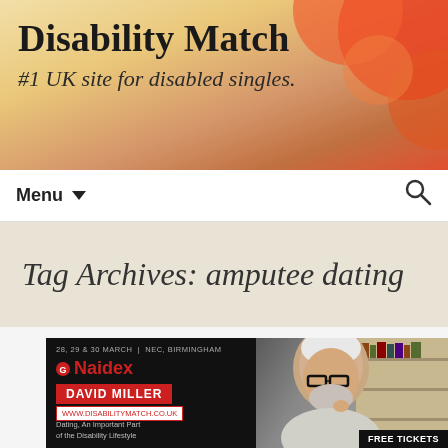Disability Match
#1 UK site for disabled singles.
Menu ▼
Tag Archives: amputee dating
[Figure (screenshot): Naidex event promotional image showing speaker David Miller from DisabilityMatch.co.uk. Text reads: 28, 29 & 30 March | NEC, Birmingham, Naidex, DAVID MILLER, WWW.DISABILITYMATCH.CO.UK, Dating, An Important Part of the Disability Lifestyle, FREE TICKETS]